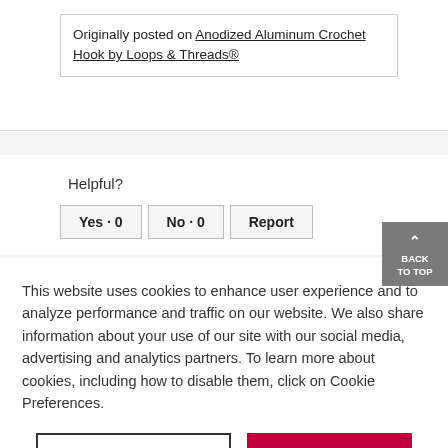Originally posted on Anodized Aluminum Crochet Hook by Loops & Threads®
Helpful?
Yes · 0   No · 0   Report
BACK TO TOP
This website uses cookies to enhance user experience and to analyze performance and traffic on our website. We also share information about your use of our site with our social media, advertising and analytics partners. To learn more about cookies, including how to disable them, click on Cookie Preferences.
Cookie Preferences
Got It